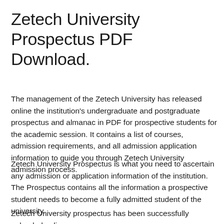Zetech University Prospectus PDF Download.
The management of the Zetech University has released online the institution's undergraduate and postgraduate prospectus and almanac in PDF for prospective students for the academic session. It contains a list of courses, admission requirements, and all admission application information to guide you through Zetech University admission process.
Zetech University Prospectus is what you need to ascertain any admission or application information of the institution. The Prospectus contains all the information a prospective student needs to become a fully admitted student of the university.
Zetech University prospectus has been successfully uploaded online